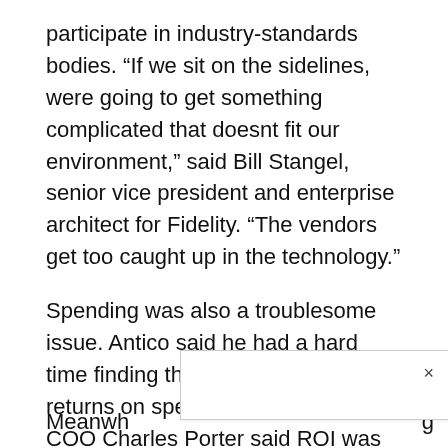participate in industry-standards bodies. “If we sit on the sidelines, were going to get something complicated that doesnt fit our environment,” said Bill Stangel, senior vice president and enterprise architect for Fidelity. “The vendors get too caught up in the technology.”
Spending was also a troublesome issue. Antico said he had a hard time finding the point of diminishing returns on spending, and Accenture COO Charles Porter said ROI was never a justification for spending on security because the potential damage of losing customer trust was “infinitely big.”
After the panel, the executives hustled backstage to avoid contact with the audience.
Meanwh g